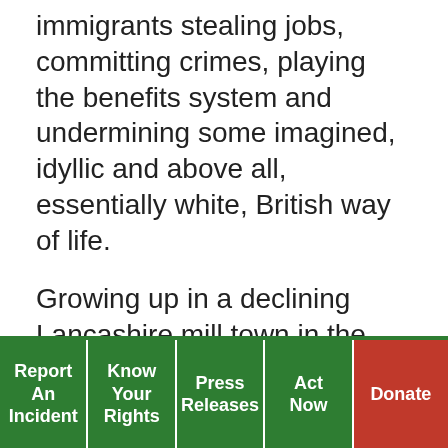immigrants stealing jobs, committing crimes, playing the benefits system and undermining some imagined, idyllic and above all, essentially white, British way of life.
Growing up in a declining Lancashire mill town in the 1970's where dodging Paki-bashers from the National Front was an essential life skill I came to believe that racism was a colour thing. They didn't like our sort because we were brown or black (the neighbours also complained our cooking stank out the street but in time they managed to overcome that particular prejudice). The arrival of the East Europeans has caused me to adjust that view. The
Report An Incident | Know Your Rights | Press Releases | Act Now | Donate